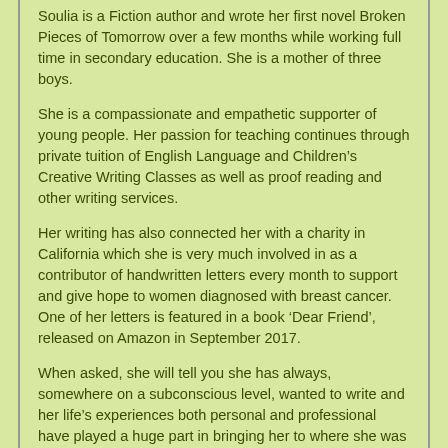Soulia is a Fiction author and wrote her first novel Broken Pieces of Tomorrow over a few months while working full time in secondary education. She is a mother of three boys.
She is a compassionate and empathetic supporter of young people. Her passion for teaching continues through private tuition of English Language and Children’s Creative Writing Classes as well as proof reading and other writing services.
Her writing has also connected her with a charity in California which she is very much involved in as a contributor of handwritten letters every month to support and give hope to women diagnosed with breast cancer. One of her letters is featured in a book ‘Dear Friend’, released on Amazon in September 2017.
When asked, she will tell you she has always, somewhere on a subconscious level, wanted to write and her life’s experiences both personal and professional have played a huge part in bringing her to where she was always meant to be: writing books and drinking lots